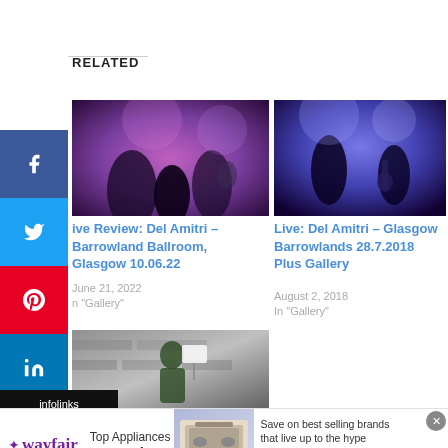RELATED
[Figure (photo): Concert photo of Del Amitri performing live, purple stage lighting]
Live Review: Del Amitri – Barrowland Ballroom, Glasgow 10.06.22
June 21, 2022
In "Gallery"
[Figure (photo): Concert photo of Del Amitri performing at Glasgow Barrowlands, blue stage lighting]
Live: Del Amitri – Glasgow Barrowlands 28.7.2018 Plus Gallery
August 2, 2018
In "Gallery"
[Figure (photo): Photo of a person holding a sign outdoors against a stone wall]
[Figure (other): Wayfair advertisement banner: Top Appliances Low Prices, Save on best selling brands that live up to the hype, Shop now button]